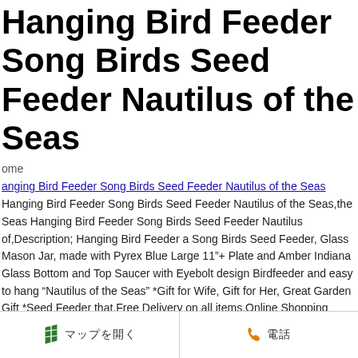Hanging Bird Feeder Song Birds Seed Feeder Nautilus of the Seas
ome
anging Bird Feeder Song Birds Seed Feeder Nautilus of the Seas
Hanging Bird Feeder Song Birds Seed Feeder Nautilus of the Seas,the Seas Hanging Bird Feeder Song Birds Seed Feeder Nautilus of,Description; Hanging Bird Feeder a Song Birds Seed Feeder, Glass Mason Jar, made with Pyrex Blue Large 11"+ Plate and Amber Indiana Glass Bottom and Top Saucer with Eyebolt design Birdfeeder and easy to hang “Nautilus of the Seas” *Gift for Wife, Gift for Her, Great Garden Gift *Seed Feeder that,Free Delivery on all items,Online Shopping Retailer,Best Quality,Provide the latest products,Free Shipping and a 100% Satisfaction Guarantee! of the Seas Hanging Bird Feeder Song Birds Seed Feeder Nautilus ian-takayama.com
🗺️ マップを開く ☏ 電話